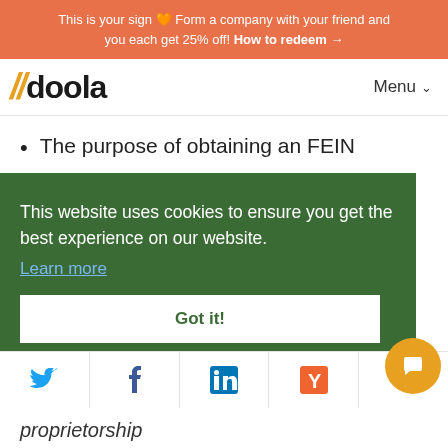This is your sign 🧡 Form a company with your friend and you each get 25% off! How to redeem →
[Figure (logo): doola logo with golden double-slash and Menu dropdown]
The purpose of obtaining an FEIN
This website uses cookies to ensure you get the best experience on our website. Learn more
Got it!
[Figure (other): Social share bar with Twitter, Facebook, LinkedIn, Hacker News, and generic share icons]
proprietorship